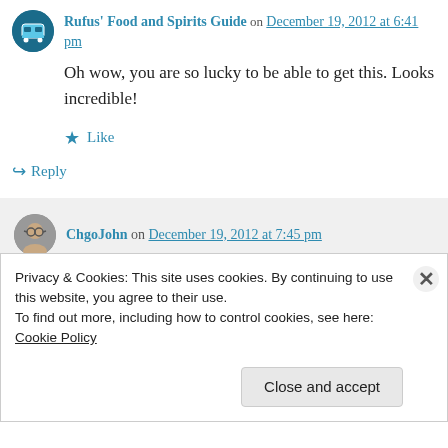Rufus' Food and Spirits Guide on December 19, 2012 at 6:41 pm
Oh wow, you are so lucky to be able to get this. Looks incredible!
Like
Reply
ChgoJohn on December 19, 2012 at 7:45 pm
Privacy & Cookies: This site uses cookies. By continuing to use this website, you agree to their use.
To find out more, including how to control cookies, see here: Cookie Policy
Close and accept